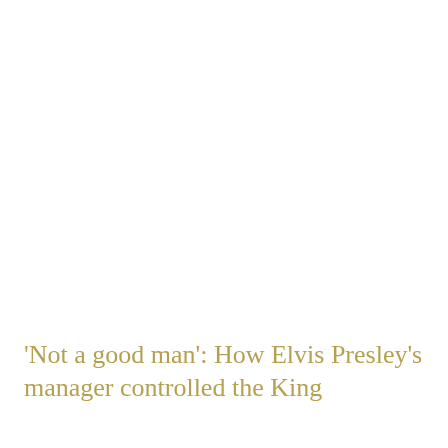‘Not a good man’: How Elvis Presley's manager controlled the King